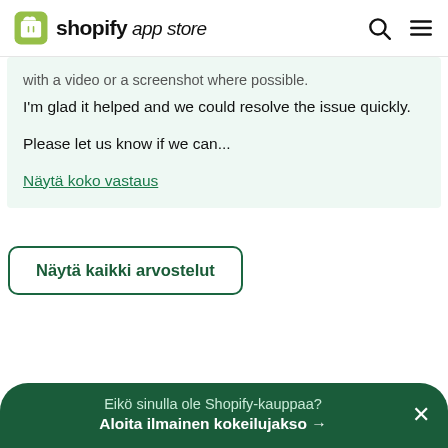shopify app store
with a video or a screenshot where possible.
I'm glad it helped and we could resolve the issue quickly.

Please let us know if we can...
Näytä koko vastaus
Näytä kaikki arvostelut
Eikö sinulla ole Shopify-kauppaa?
Aloita ilmainen kokeilujakso →